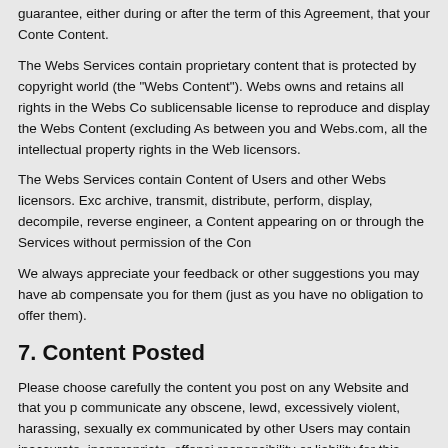guarantee, either during or after the term of this Agreement, that your Content. Content.
The Webs Services contain proprietary content that is protected by copyright world (the "Webs Content"). Webs owns and retains all rights in the Webs Co sublicensable license to reproduce and display the Webs Content (excluding As between you and Webs.com, all the intellectual property rights in the Web licensors.
The Webs Services contain Content of Users and other Webs licensors. Exc archive, transmit, distribute, perform, display, decompile, reverse engineer, a Content appearing on or through the Services without permission of the Con
We always appreciate your feedback or other suggestions you may have ab compensate you for them (just as you have no obligation to offer them).
7. Content Posted
Please choose carefully the content you post on any Website and that you p communicate any obscene, lewd, excessively violent, harassing, sexually ex communicated by other Users may contain inaccurate, inappropriate, offensi responsibility or liability for this material. If you become aware of misuse of th
Without assuming any obligation to do so, Webs may delete any Content or violates this Agreement or that may be offensive or illegal, or violate the ri